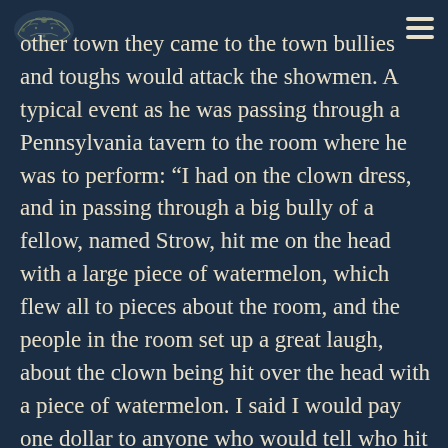other town they came to the town bullies and toughs would attack the showmen. A typical event as he was passing through a Pennsylvania tavern to the room where he was to perform: “I had on the clown dress, and in passing through a big bully of a fellow, named Strow, hit me on the head with a large piece of watermelon, which flew all to pieces about the room, and the people in the room set up a great laugh, about the clown being hit over the head with a piece of watermelon. I said I would pay one dollar to anyone who would tell who hit me. Up jumped Strow and said he did it, so I put up fists and knocked him down, and at the same time told him that was his dollar.”
Examples abound. At the next town, “Towards evening the party of roughs came rank and file